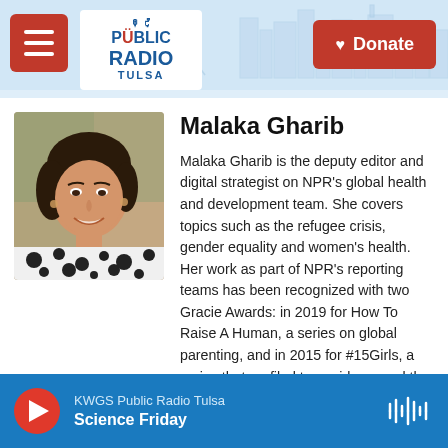[Figure (logo): Public Radio Tulsa logo with hamburger menu button and Donate button in header bar with city skyline illustration]
[Figure (photo): Portrait photo of Malaka Gharib, a woman with dark hair, wearing a black and white patterned top, smiling]
Malaka Gharib
Malaka Gharib is the deputy editor and digital strategist on NPR's global health and development team. She covers topics such as the refugee crisis, gender equality and women's health. Her work as part of NPR's reporting teams has been recognized with two Gracie Awards: in 2019 for How To Raise A Human, a series on global parenting, and in 2015 for #15Girls, a series that profiled teen girls around the world.
KWGS Public Radio Tulsa / Science Friday